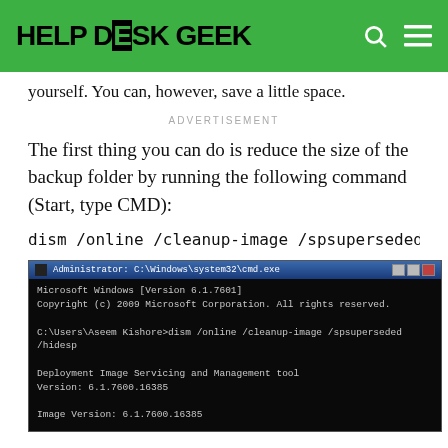HELP DESK GEEK
yourself. You can, however, save a little space.
ADVERTISEMENT
The first thing you can do is reduce the size of the backup folder by running the following command (Start, type CMD):
[Figure (screenshot): Command prompt window showing: Microsoft Windows [Version 6.1.7601] Copyright (c) 2009 Microsoft Corporation. All rights reserved. C:\Users\Aseem Kishore>dism /online /cleanup-image /spsuperseded /hidesp Deployment Image Servicing and Management tool Version: 6.1.7600.16385 Image Version: 6.1.7600.16385 Service Pack Cleanup can't proceed: No service pack backup files were found. The operation completed successfully. C:\Users\Aseem Kishore>_]
If any service pack backup files were found, it will